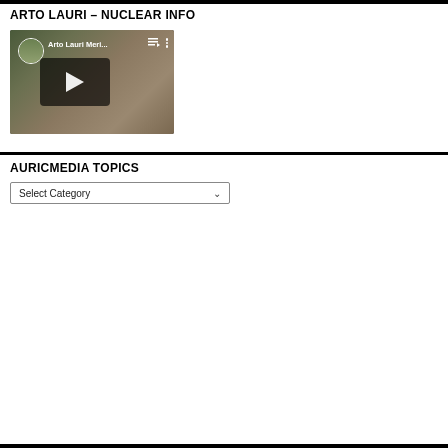ARTO LAURI – NUCLEAR INFO
[Figure (screenshot): YouTube video thumbnail showing a close-up face of an older man outdoors, with channel avatar, title 'Arto Lauri Meri…', queue icon, menu icon, and a play button overlay on dark background.]
AURICMEDIA TOPICS
Select Category